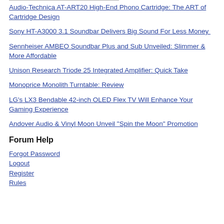Audio-Technica AT-ART20 High-End Phono Cartridge: The ART of Cartridge Design
Sony HT-A3000 3.1 Soundbar Delivers Big Sound For Less Money
Sennheiser AMBEO Soundbar Plus and Sub Unveiled: Slimmer & More Affordable
Unison Research Triode 25 Integrated Amplifier: Quick Take
Monoprice Monolith Turntable: Review
LG's LX3 Bendable 42-inch OLED Flex TV Will Enhance Your Gaming Experience
Andover Audio & Vinyl Moon Unveil "Spin the Moon" Promotion
Forum Help
Forgot Password
Logout
Register
Rules